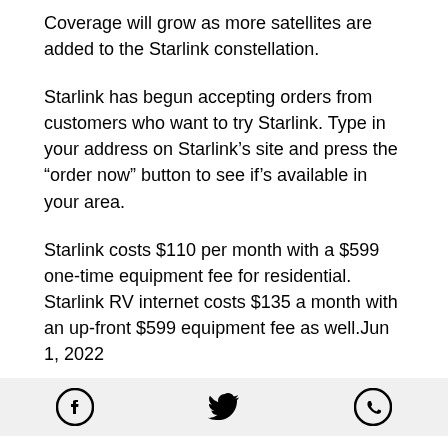Coverage will grow as more satellites are added to the Starlink constellation.
Starlink has begun accepting orders from customers who want to try Starlink. Type in your address on Starlink’s site and press the “order now” button to see if’s available in your area.
Starlink costs $110 per month with a $599 one-time equipment fee for residential. Starlink RV internet costs $135 a month with an up-front $599 equipment fee as well.Jun 1, 2022
Thank you Pocket Lint for the article.
[Figure (other): Social media share icons: Facebook, Twitter, WhatsApp]